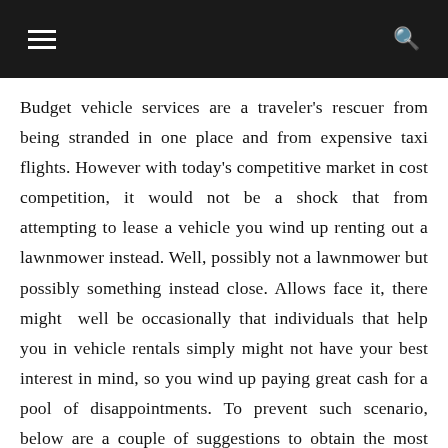Budget vehicle services are a traveler's rescuer from being stranded in one place and from expensive taxi flights. However with today's competitive market in cost competition, it would not be a shock that from attempting to lease a vehicle you wind up renting out a lawnmower instead. Well, possibly not a lawnmower but possibly something instead close. Allows face it, there might well be occasionally that individuals that help you in vehicle rentals simply might not have your best interest in mind, so you wind up paying great cash for a pool of disappointments. To prevent such scenario, below are a couple of suggestions to obtain the most effective out of spending plan car rental, finding the best prices and